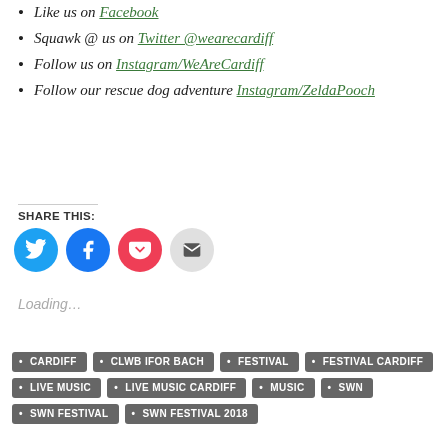Like us on Facebook
Squawk @ us on Twitter @wearecardiff
Follow us on Instagram/WeAreCardiff
Follow our rescue dog adventure Instagram/ZeldaPooch
SHARE THIS:
[Figure (other): Social share buttons: Twitter (blue), Facebook (blue), Pocket (red), Email (grey)]
Loading...
CARDIFF • CLWB IFOR BACH • FESTIVAL • FESTIVAL CARDIFF • LIVE MUSIC • LIVE MUSIC CARDIFF • MUSIC • SWN • SWN FESTIVAL • SWN FESTIVAL 2018